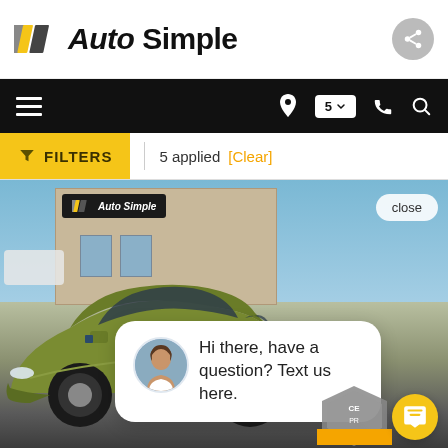[Figure (logo): Auto Simple logo with diagonal stripes and bold italic text]
[Figure (screenshot): Navigation bar with hamburger menu, location pin, location count 5, phone, and search icons on black background]
[Figure (screenshot): Filter bar showing yellow FILTERS button and '5 applied [Clear]']
[Figure (photo): Green Kia Soul parked in front of Auto Simple dealership with chat popup overlay saying 'Hi there, have a question? Text us here.' and a close button]
5 applied [Clear]